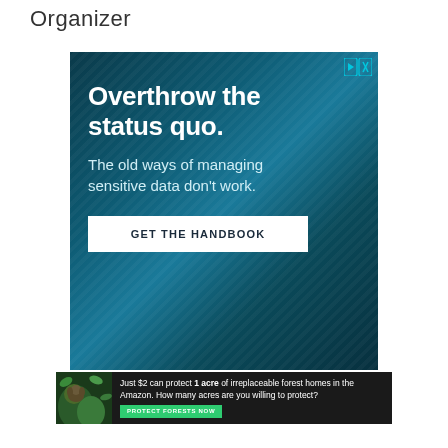Organizer
[Figure (illustration): Advertisement banner with dark teal/blue textured background. Large white bold text reads 'Overthrow the status quo.' Below in lighter text: 'The old ways of managing sensitive data don't work.' A white button reads 'GET THE HANDBOOK'. Top right corner has an ad icon (play/close buttons). A secondary banner at the bottom shows a forest animal image with text: 'Just $2 can protect 1 acre of irreplaceable forest homes in the Amazon. How many acres are you willing to protect?' and a green 'PROTECT FORESTS NOW' button.]